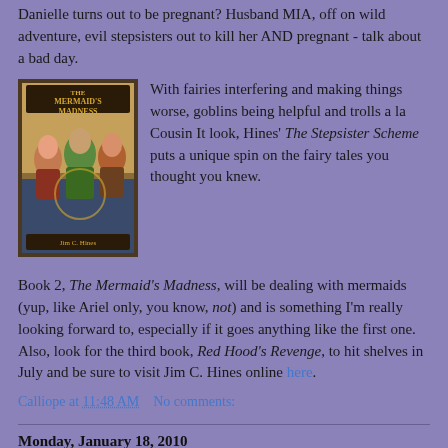Danielle turns out to be pregnant? Husband MIA, off on wild adventure, evil stepsisters out to kill her AND pregnant - talk about a bad day.
[Figure (illustration): Book cover of 'The Mermaid's Madness' by Jim C. Hines showing fantasy characters]
With fairies interfering and making things worse, goblins being helpful and trolls a la Cousin It look, Hines' The Stepsister Scheme puts a unique spin on the fairy tales you thought you knew.

Book 2, The Mermaid's Madness, will be dealing with mermaids (yup, like Ariel only, you know, not) and is something I'm really looking forward to, especially if it goes anything like the first one. Also, look for the third book, Red Hood's Revenge, to hit shelves in July and be sure to visit Jim C. Hines online here.
Calliope at 11:48 AM    No comments:
Monday, January 18, 2010